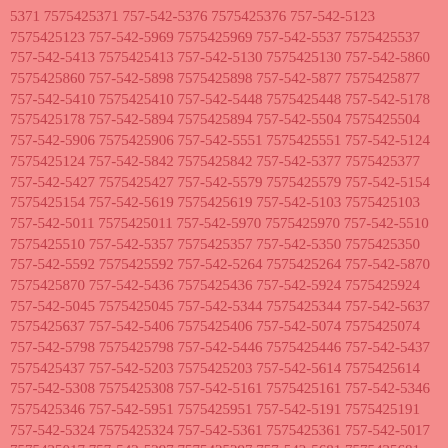5371 7575425371 757-542-5376 7575425376 757-542-5123 7575425123 757-542-5969 7575425969 757-542-5537 7575425537 757-542-5413 7575425413 757-542-5130 7575425130 757-542-5860 7575425860 757-542-5898 7575425898 757-542-5877 7575425877 757-542-5410 7575425410 757-542-5448 7575425448 757-542-5178 7575425178 757-542-5894 7575425894 757-542-5504 7575425504 757-542-5906 7575425906 757-542-5551 7575425551 757-542-5124 7575425124 757-542-5842 7575425842 757-542-5377 7575425377 757-542-5427 7575425427 757-542-5579 7575425579 757-542-5154 7575425154 757-542-5619 7575425619 757-542-5103 7575425103 757-542-5011 7575425011 757-542-5970 7575425970 757-542-5510 7575425510 757-542-5357 7575425357 757-542-5350 7575425350 757-542-5592 7575425592 757-542-5264 7575425264 757-542-5870 7575425870 757-542-5436 7575425436 757-542-5924 7575425924 757-542-5045 7575425045 757-542-5344 7575425344 757-542-5637 7575425637 757-542-5406 7575425406 757-542-5074 7575425074 757-542-5798 7575425798 757-542-5446 7575425446 757-542-5437 7575425437 757-542-5203 7575425203 757-542-5614 7575425614 757-542-5308 7575425308 757-542-5161 7575425161 757-542-5346 7575425346 757-542-5951 7575425951 757-542-5191 7575425191 757-542-5324 7575425324 757-542-5361 7575425361 757-542-5017 7575425017 757-542-5297 7575425297 757-542-5681 7575425681 757-542-5929 7575425929 757-542-5180 7575425180 757-542-5117 7575425117 757-542-5065 7575425065 757-542-5189 7575425189 757-542-5545 7575425545 757-542-5081 7575425081 757-542-5608 7575425608 757-542-